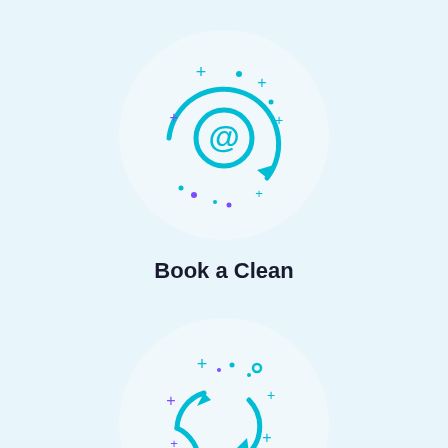[Figure (illustration): Circular icon with an @ symbol in cyan/teal color, surrounded by sparkle plus signs and dots in cyan and purple, on a light circular white background]
Book a Clean
[Figure (illustration): Circular icon with three rotating arrows forming a cycle in cyan/teal color, surrounded by sparkle plus signs and dots in cyan and purple, on a light circular white background]